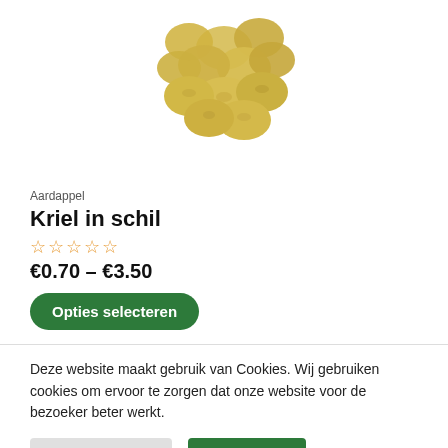[Figure (photo): Photo of small yellow potatoes (kriel) piled together on white background, partially cropped at top]
Aardappel
Kriel in schil
☆☆☆☆☆
€0.70 – €3.50
Opties selecteren
Deze website maakt gebruik van Cookies. Wij gebruiken cookies om ervoor te zorgen dat onze website voor de bezoeker beter werkt.
Cookie Settings
Accept All